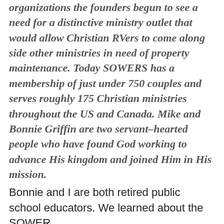organizations the founders begun to see a need for a distinctive ministry outlet that would allow Christian RVers to come along side other ministries in need of property maintenance. Today SOWERS has a membership of just under 750 couples and serves roughly 175 Christian ministries throughout the US and Canada. Mike and Bonnie Griffin are two servant–hearted people who have found God working to advance His kingdom and joined Him in His mission.
Bonnie and I are both retired public school educators. We learned about the SOWER